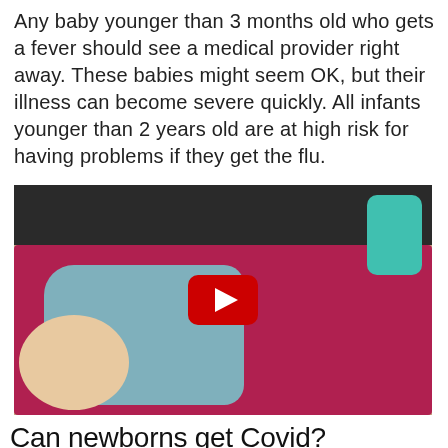Any baby younger than 3 months old who gets a fever should see a medical provider right away. These babies might seem OK, but their illness can become severe quickly. All infants younger than 2 years old are at high risk for having problems if they get the flu.
[Figure (screenshot): YouTube video thumbnail showing a baby lying on a red/pink blanket wearing a teal polka-dot outfit, with a play button overlay. A teal object is visible in the upper right corner.]
Can newborns get Covid?